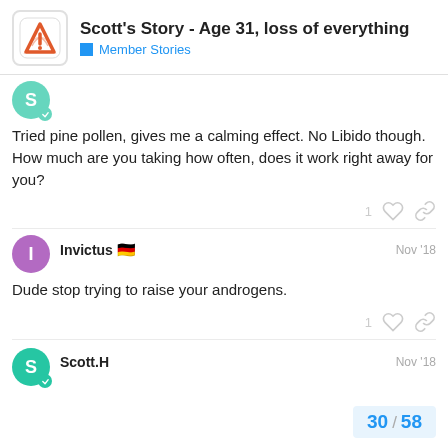Scott's Story - Age 31, loss of everything | Member Stories
Tried pine pollen, gives me a calming effect. No Libido though. How much are you taking how often, does it work right away for you?
Invictus 🇩🇪  Nov '18
Dude stop trying to raise your androgens.
Scott.H  Nov '18
30 / 58